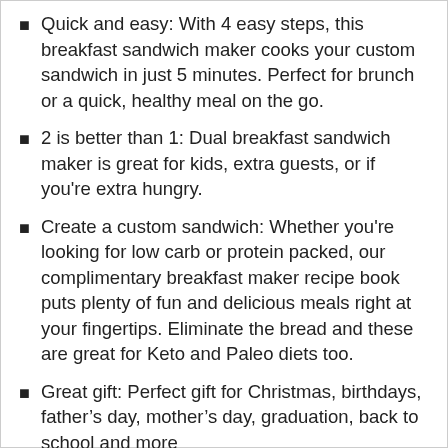Quick and easy: With 4 easy steps, this breakfast sandwich maker cooks your custom sandwich in just 5 minutes. Perfect for brunch or a quick, healthy meal on the go.
2 is better than 1: Dual breakfast sandwich maker is great for kids, extra guests, or if you're extra hungry.
Create a custom sandwich: Whether you're looking for low carb or protein packed, our complimentary breakfast maker recipe book puts plenty of fun and delicious meals right at your fingertips. Eliminate the bread and these are great for Keto and Paleo diets too.
Great gift: Perfect gift for Christmas, birthdays, father's day, mother's day, graduation, back to school and more
Easy clean up: All removable parts on this breakfast maker are dishwasher safe